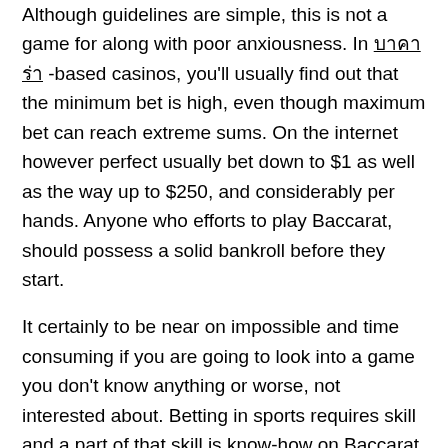Although guidelines are simple, this is not a game for along with poor anxiousness. In บาคาร่า -based casinos, you'll usually find out that the minimum bet is high, even though maximum bet can reach extreme sums. On the internet however perfect usually bet down to $1 as well as the way up to $250, and considerably per hands. Anyone who efforts to play Baccarat, should possess a solid bankroll before they start.
It certainly to be near on impossible and time consuming if you are going to look into a game you don't know anything or worse, not interested about. Betting in sports requires skill and a part of that skill is know-how on Baccarat online game.